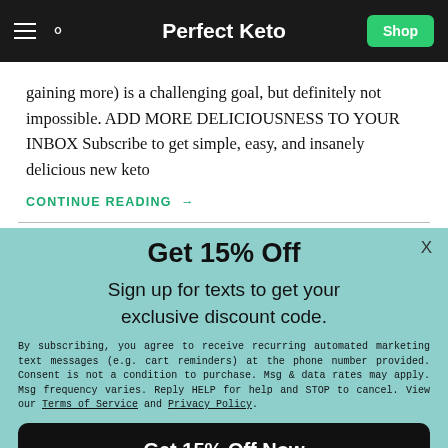Perfect Keto
gaining more) is a challenging goal, but definitely not impossible. ADD MORE DELICIOUSNESS TO YOUR INBOX Subscribe to get simple, easy, and insanely delicious new keto
CONTINUE READING →
Get 15% Off
Sign up for texts to get your exclusive discount code.
By subscribing, you agree to receive recurring automated marketing text messages (e.g. cart reminders) at the phone number provided. Consent is not a condition to purchase. Msg & data rates may apply. Msg frequency varies. Reply HELP for help and STOP to cancel. View our Terms of Service and Privacy Policy.
Get 15% Off Now